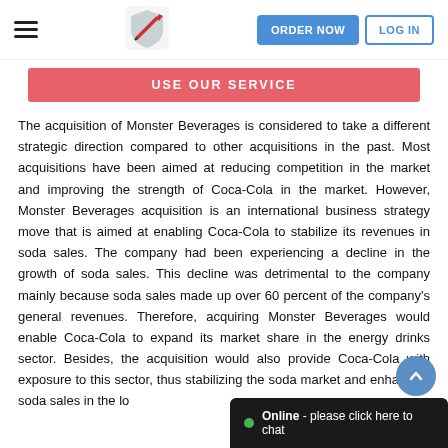ORDER NOW  LOG IN
USE OUR SERVICE
The acquisition of Monster Beverages is considered to take a different strategic direction compared to other acquisitions in the past. Most acquisitions have been aimed at reducing competition in the market and improving the strength of Coca-Cola in the market. However, Monster Beverages acquisition is an international business strategy move that is aimed at enabling Coca-Cola to stabilize its revenues in soda sales. The company had been experiencing a decline in the growth of soda sales. This decline was detrimental to the company mainly because soda sales made up over 60 percent of the company's general revenues. Therefore, acquiring Monster Beverages would enable Coca-Cola to expand its market share in the energy drinks sector. Besides, the acquisition would also provide Coca-Cola with exposure to this sector, thus stabilizing the soda market and enhancing soda sales in the lo